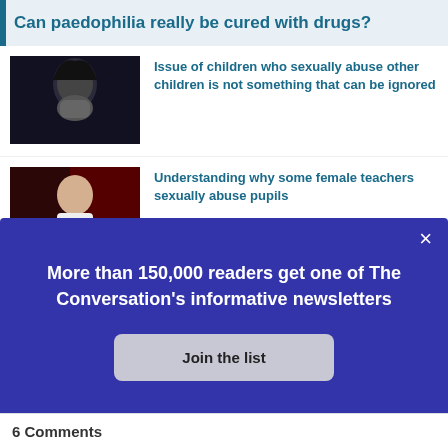Can paedophilia really be cured with drugs?
Issue of children who sexually abuse other children is not something that can be ignored
[Figure (photo): Person covering face with hands, dark background]
Understanding why some female teachers sexually abuse pupils
[Figure (photo): Person in white shirt looking down, red background]
How paedophiles speak to
[Figure (photo): Partial image, dark blue/grey background]
More than 150,000 readers get one of The Conversation's informative newsletters
Join the list
6 Comments